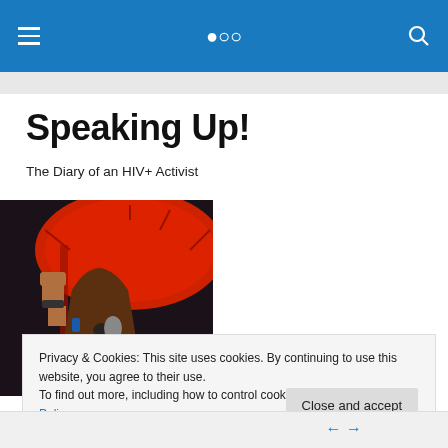Navigation bar with hamburger menu and search icon
Speaking Up!
The Diary of an HIV+ Activist
[Figure (photo): A woman speaking passionately into a microphone with her fist raised, in front of a large red umbrella, dark background]
Privacy & Cookies: This site uses cookies. By continuing to use this website, you agree to their use.
To find out more, including how to control cookies, see here: Cookie Policy
Close and accept